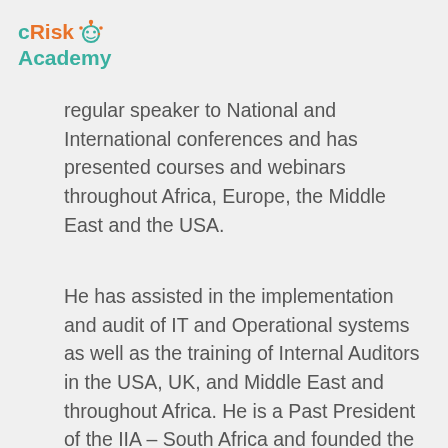[Figure (logo): cRisk Academy logo with orange and teal colors and a circular icon]
regular speaker to National and International conferences and has presented courses and webinars throughout Africa, Europe, the Middle East and the USA.
He has assisted in the implementation and audit of IT and Operational systems as well as the training of Internal Auditors in the USA, UK, and Middle East and throughout Africa. He is a Past President of the IIA – South Africa and founded the African Region of the IIA Inc. He has also served as a member of the Board of